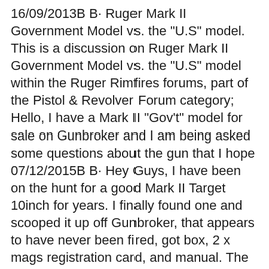16/09/2013B B· Ruger Mark II Government Model vs. the "U.S" model. This is a discussion on Ruger Mark II Government Model vs. the "U.S" model within the Ruger Rimfires forums, part of the Pistol & Revolver Forum category; Hello, I have a Mark II "Gov't" model for sale on Gunbroker and I am being asked some questions about the gun that I hope 07/12/2015B B· Hey Guys, I have been on the hunt for a good Mark II Target 10inch for years. I finally found one and scooped it up off Gunbroker, that appears to have never been fired, got box, 2 x mags registration card, and manual. The feed ramp, looks factory new, the mags show no signs of use. Bluing is 100 % no marks/scratches of